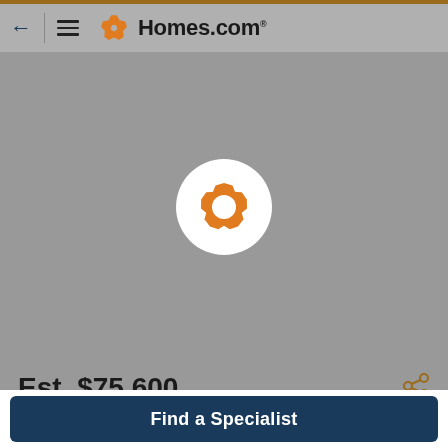Homes.com
[Figure (screenshot): Gray map background with Homes.com logo marker (white circle with orange hexagonal logo) in the center]
Est. $75,600
Find a Specialist